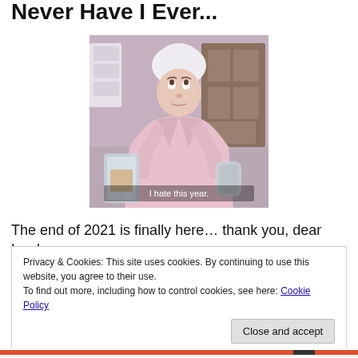Never Have I Ever...
[Figure (photo): A woman in a pink robe and white towel on her head, holding a blender and a can, looking upward. Subtitle text reads: 'I hate this year.']
The end of 2021 is finally here… thank you, dear Lord.
Privacy & Cookies: This site uses cookies. By continuing to use this website, you agree to their use.
To find out more, including how to control cookies, see here: Cookie Policy
Close and accept